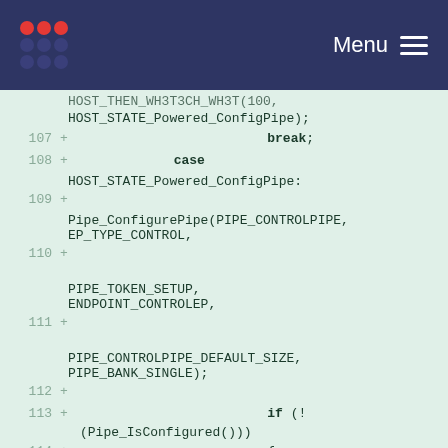Menu
Code diff showing lines 107-115 with additions to USB host state machine, including HOST_STATE_Powered_ConfigPipe case, Pipe_ConfigurePipe call, and if (!Pipe_IsConfigured()) condition.